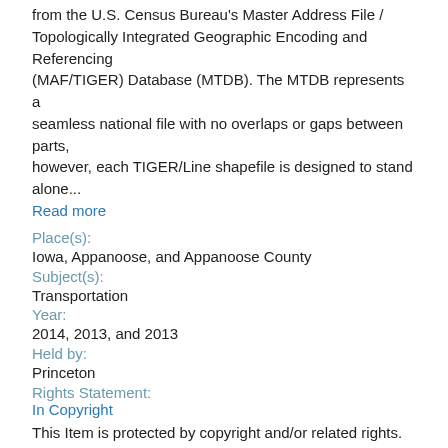from the U.S. Census Bureau's Master Address File / Topologically Integrated Geographic Encoding and Referencing (MAF/TIGER) Database (MTDB). The MTDB represents a seamless national file with no overlaps or gaps between parts, however, each TIGER/Line shapefile is designed to stand alone...
Read more
Place(s):
Iowa, Appanoose, and Appanoose County
Subject(s):
Transportation
Year:
2014, 2013, and 2013
Held by:
Princeton
Rights Statement:
In Copyright
This Item is protected by copyright and/or related rights. You are free to use this Item in any way that is permitted by the copyright and related rights legislation that applies to your use. For other uses you need to obtain permission from the right...